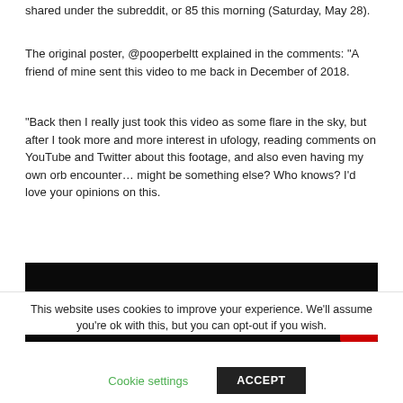shared under the subreddit, or 85 this morning (Saturday, May 28).
The original poster, @pooperbeltt explained in the comments: "A friend of mine sent this video to me back in December of 2018.
"Back then I really just took this video as some flare in the sky, but after I took more and more interest in ufology, reading comments on YouTube and Twitter about this footage, and also even having my own orb encounter… might be something else? Who knows? I'd love your opinions on this.
[Figure (screenshot): Dark video frame, mostly black with a small red element visible at bottom right corner]
This website uses cookies to improve your experience. We'll assume you're ok with this, but you can opt-out if you wish.
Cookie settings    ACCEPT